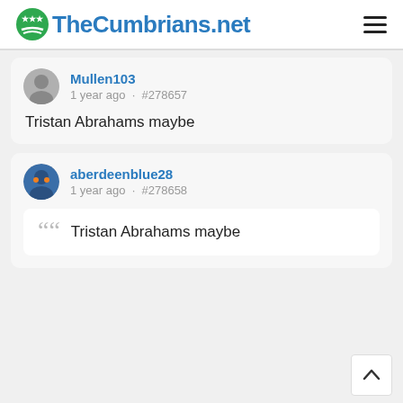TheCumbrians.net
Mullen103
1 year ago · #278657
Tristan Abrahams maybe
aberdeenblue28
1 year ago · #278658
“Tristan Abrahams maybe”